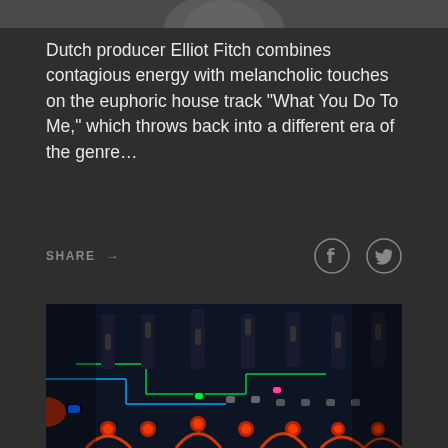[Figure (photo): Partial view of a person's face cropped at top of page]
Dutch producer Elliot Fitch combines contagious energy with melancholic touches on the euphoric house track “What You Do To Me,” which throws back into a different era of the genre…
SHARE →
[Figure (photo): Close-up photograph of an illuminated DJ/audio mixer with glowing orange, green, blue, and pink buttons and knobs on a dark blue circuit board]